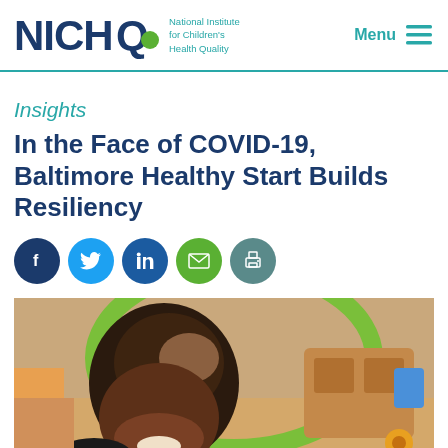NICHQ - National Institute for Children's Health Quality | Menu
Insights
In the Face of COVID-19, Baltimore Healthy Start Builds Resiliency
[Figure (infographic): Social sharing icons: Facebook, Twitter, LinkedIn, Email, Print]
[Figure (photo): A Black woman smiling and leaning over a baby on a colorful play mat with toys in the background]